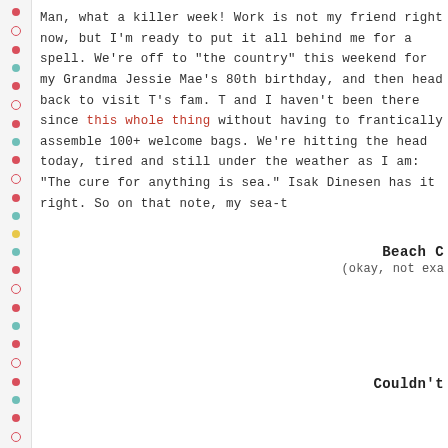Man, what a killer week! Work is not my friend right now, but I'm ready to put it all behind me for a spell. We're off to "the country" this weekend for my Grandma Jessie Mae's 80th birthday, and then head back to visit T's fam. T and I haven't been there since this whole thing without having to frantically assemble 100+ welcome bags. We're hitting the head today, tired and still under the weather as I am: "The cure for anything is sea." Isak Dinesen has it right. So on that note, my sea-t
Beach C
(okay, not exa
Couldn't